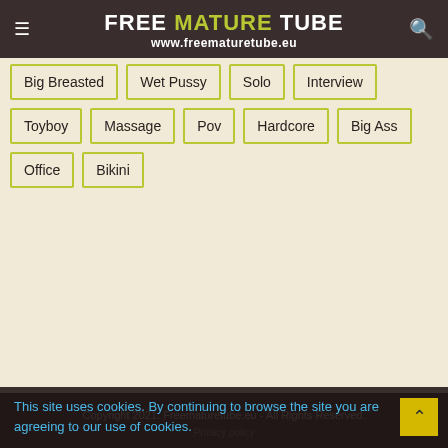FREE MATURE TUBE www.freematuretube.eu
Big Breasted
Wet Pussy
Solo
Interview
Toyboy
Massage
Pov
Hardcore
Big Ass
Office
Bikini
Copyright 2021. Freematuretube.eu - All Rights Reserved.
This site uses cookies. By continuing to browse the site you are agreeing to our use of cookies.